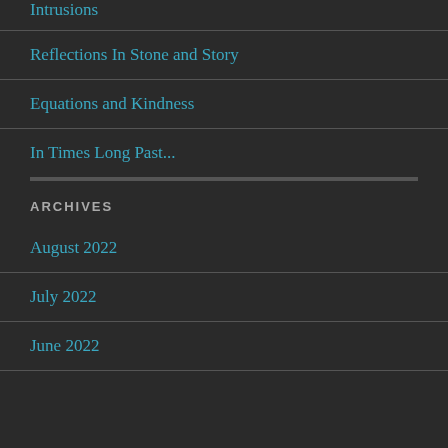Intrusions
Reflections In Stone and Story
Equations and Kindness
In Times Long Past...
ARCHIVES
August 2022
July 2022
June 2022